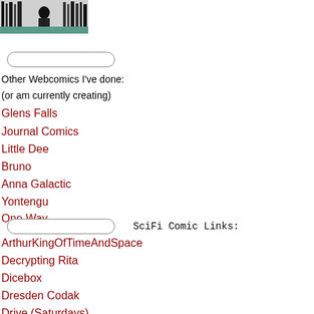[Figure (illustration): Black and white comic/illustration showing figures with books]
[Figure (other): Search/input bar (rounded rectangle)]
Other Webcomics I've done:
(or am currently creating)
Glens Falls
Journal Comics
Little Dee
Bruno
Anna Galactic
Yontengu
One Way
[Figure (other): Search/input bar (rounded rectangle)]
SciFi Comic Links:
ArthurKingOfTimeAndSpace
Decrypting Rita
Dicebox
Dresden Codak
Drive (Saturdays)